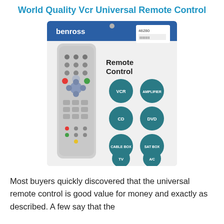World Quality Vcr Universal Remote Control
[Figure (photo): Product photo of a Benross Universal Remote Control in retail packaging. The packaging shows the remote control device on the left and circular teal buttons on the right labeled VCR, AMPLIFIER, CD, DVD, CABLE BOX, SAT BOX, TV, A/C. A price sticker is visible top right of the packaging.]
Most buyers quickly discovered that the universal remote control is good value for money and exactly as described. A few say that the